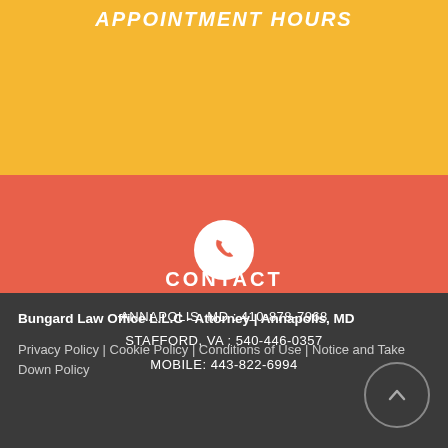APPOINTMENT HOURS
[Figure (illustration): Phone icon in white circle on coral/red background]
CONTACT
ANNAPOLIS, MD : 410-878-7968
STAFFORD, VA : 540-446-0357
MOBILE: 443-822-6994
Bungard Law Office L.L.C - Attorney | Annapolis, MD
Privacy Policy | Cookie Policy | Conditions of Use | Notice and Take Down Policy